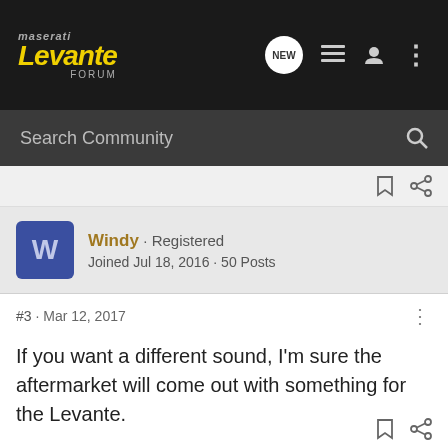Maserati Levante Forum
Search Community
Windy · Registered
Joined Jul 18, 2016 · 50 Posts
#3 · Mar 12, 2017
If you want a different sound, I'm sure the aftermarket will come out with something for the Levante.